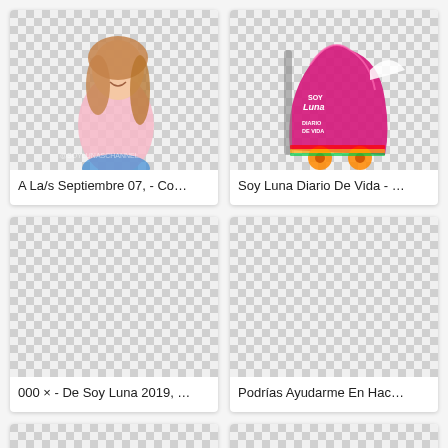[Figure (photo): Young woman with long brown hair wearing a pink top, smiling, with watermark @SOYLUNASCHANNEL. Checkered transparent background.]
A La/s Septiembre 07, - Co…
[Figure (photo): Soy Luna Diario De Vida roller skate shaped notebook/diary, pink and colorful with spiral binding.]
Soy Luna Diario De Vida - …
[Figure (photo): Checkered transparent placeholder image (no image loaded).]
000 × - De Soy Luna 2019, …
[Figure (photo): Checkered transparent placeholder image (no image loaded).]
Podrías Ayudarme En Hac…
[Figure (photo): Checkered transparent placeholder image (partial, bottom of page).]
[Figure (photo): Checkered transparent placeholder image (partial, bottom of page).]